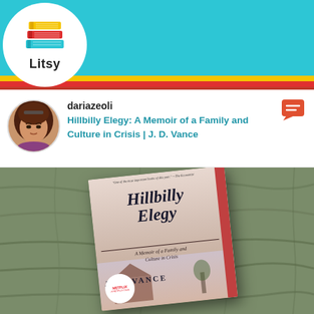[Figure (screenshot): Litsy app navigation bar with teal background, colorful stack of books logo, and navigation icons for home, search, add, activity, and profile]
dariazeoli
Hillbilly Elegy: A Memoir of a Family and Culture in Crisis | J. D. Vance
[Figure (photo): Photo of the book 'Hillbilly Elegy: A Memoir of a Family and Culture in Crisis' by J.D. Vance with a Netflix film badge, resting on a green quilted fabric surface]